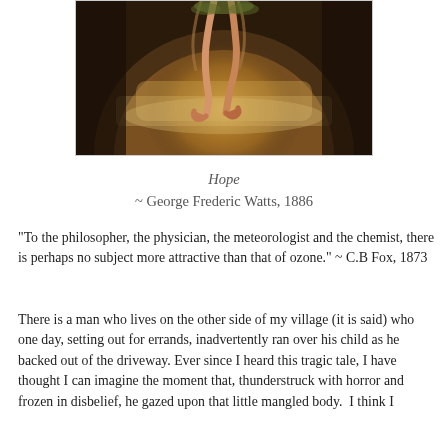[Figure (illustration): A painting showing a partial figure (legs/feet visible) hovering above a misty landscape with warm golden and brownish tones, arched dark background — appears to be a reproduction of George Frederic Watts' painting 'Hope' (1886).]
Hope
~ George Frederic Watts, 1886
"To the philosopher, the physician, the meteorologist and the chemist, there is perhaps no subject more attractive than that of ozone." ~ C.B Fox, 1873
There is a man who lives on the other side of my village (it is said) who one day, setting out for errands, inadvertently ran over his child as he backed out of the driveway. Ever since I heard this tragic tale, I have thought I can imagine the moment that, thunderstruck with horror and frozen in disbelief, he gazed upon that little mangled body.  I think I